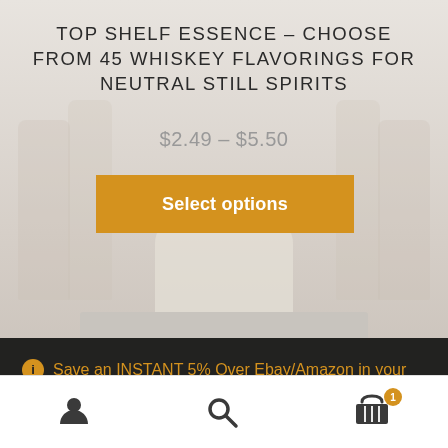TOP SHELF ESSENCE – CHOOSE FROM 45 WHISKEY FLAVORINGS FOR NEUTRAL STILL SPIRITS
$2.49 – $5.50
Select options
Save an INSTANT 5% Over Ebay/Amazon in your cart when you order here! Fast Shipping - Fair Prices - Friendly Service!
Dismiss